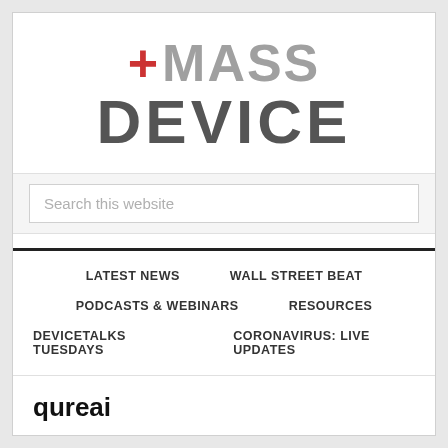[Figure (logo): MassDevice logo with red plus sign and gray MASS DEVICE text]
Search this website
LATEST NEWS   WALL STREET BEAT   PODCASTS & WEBINARS   RESOURCES   DEVICETALKS TUESDAYS   CORONAVIRUS: LIVE UPDATES
qureai